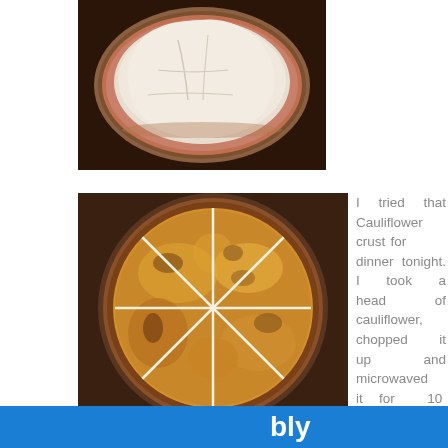[Figure (photo): Aerial top-down view of a circular white cauliflower crust on a dark round pan against a dark wooden surface]
[Figure (photo): A golden-brown baked cauliflower pizza crust cut into 8 triangular slices on a dark pan, viewed from above]
I tried that Cauliflower crust for dinner tonight. I took a head of cauliflower, chopped it up and microwaved it for 10 minutes
bly